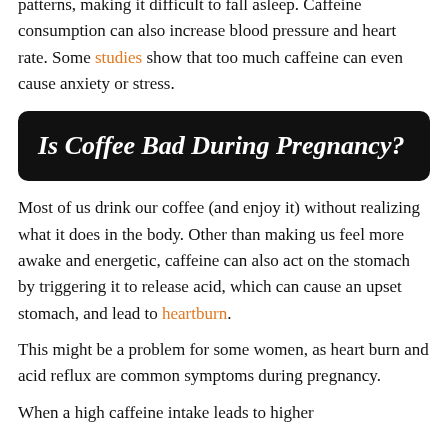patterns, making it difficult to fall asleep. Caffeine consumption can also increase blood pressure and heart rate. Some studies show that too much caffeine can even cause anxiety or stress.
Is Coffee Bad During Pregnancy?
Most of us drink our coffee (and enjoy it) without realizing what it does in the body. Other than making us feel more awake and energetic, caffeine can also act on the stomach by triggering it to release acid, which can cause an upset stomach, and lead to heartburn.
This might be a problem for some women, as heart burn and acid reflux are common symptoms during pregnancy.
When a high caffeine intake leads to higher...